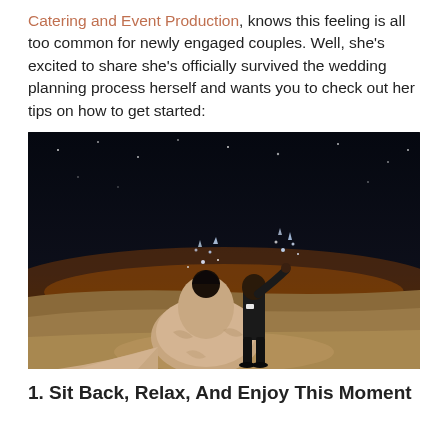Catering and Event Production, knows this feeling is all too common for newly engaged couples. Well, she's excited to share she's officially survived the wedding planning process herself and wants you to check out her tips on how to get started:
[Figure (photo): A couple celebrating at night on a sandy beach. The woman is wearing a large fluffy/feathered light pink gown with a long train. Both are tossing glitter or confetti in the air. The background shows a dark night sky with a warm orange/amber glow on the horizon.]
1. Sit Back, Relax, And Enjoy This Moment